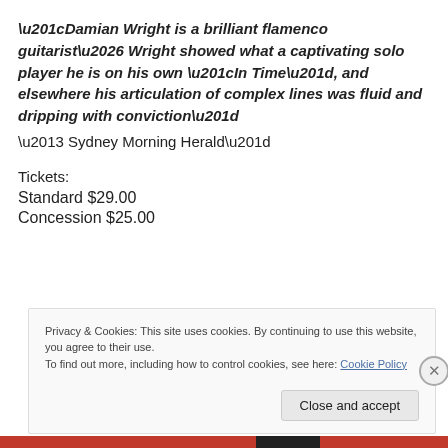“Damian Wright is a brilliant flamenco guitarist… Wright showed what a captivating solo player he is on his own “In Time”, and elsewhere his articulation of complex lines was fluid and dripping with conviction”
– Sydney Morning Herald”
Tickets:
Standard $29.00
Concession $25.00
Privacy & Cookies: This site uses cookies. By continuing to use this website, you agree to their use.
To find out more, including how to control cookies, see here: Cookie Policy